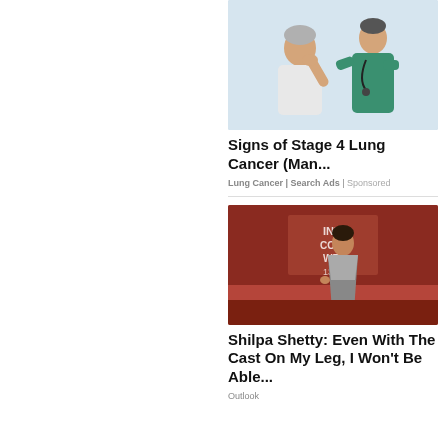[Figure (photo): Doctor examining elderly patient's shoulder/neck in a medical setting, doctor wearing green scrubs with stethoscope]
Signs of Stage 4 Lung Cancer (Man...
Lung Cancer | Search Ads | Sponsored
[Figure (photo): Shilpa Shetty standing in front of a backdrop with text, wearing a glamorous outfit]
Shilpa Shetty: Even With The Cast On My Leg, I Won't Be Able...
Outlook